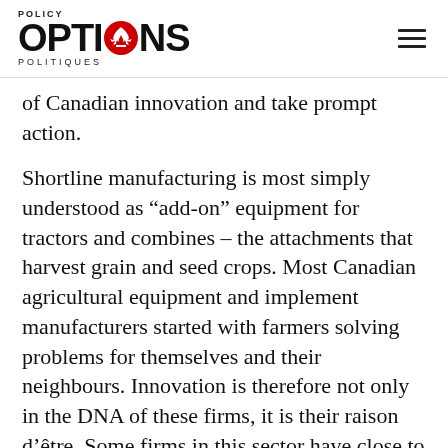POLICY OPTIONS POLITIQUES
of Canadian innovation and take prompt action.
Shortline manufacturing is most simply understood as “add-on” equipment for tractors and combines – the attachments that harvest grain and seed crops. Most Canadian agricultural equipment and implement manufacturers started with farmers solving problems for themselves and their neighbours. Innovation is therefore not only in the DNA of these firms, it is their raison d’être. Some firms in this sector have close to 100 patents approved annually. They fill a niche in Canada and